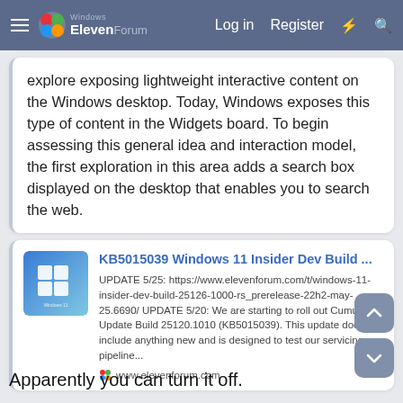Windows ElevenForum — Log in  Register
explore exposing lightweight interactive content on the Windows desktop. Today, Windows exposes this type of content in the Widgets board. To begin assessing this general idea and interaction model, the first exploration in this area adds a search box displayed on the desktop that enables you to search the web.
[Figure (screenshot): Link preview card for KB5015039 Windows 11 Insider Dev Build article on elevenforum.com, with Windows 11 thumbnail image, blue link title, description text, and source URL with favicon.]
Apparently you can turn it off.